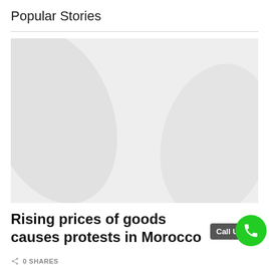Popular Stories
[Figure (photo): Light grey placeholder image area with subtle texture, used as a story thumbnail]
Rising prices of goods causes protests in Morocco
0 SHARES